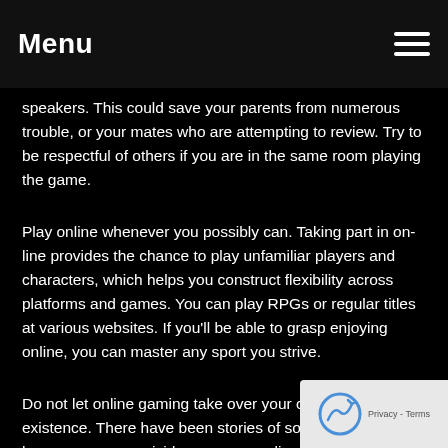Menu
speakers. This could save your parents from numerous trouble, or your mates who are attempting to review. Try to be respectful of others if you are in the same room playing the game.
Play online whenever you possibly can. Taking part in on-line provides the chance to play unfamiliar players and characters, which helps you construct flexibility across platforms and games. You can play RPGs or regular titles at various websites. If you'll be able to grasp enjoying online, you can master any sport you strive.
Do not let online gaming take over your complete existence. There have been stories of some people who have committed suicide over sure online video games. It is very important once you are becoming too addicted to a sport for your personal good. Chances are you'll not get thrown over the edge